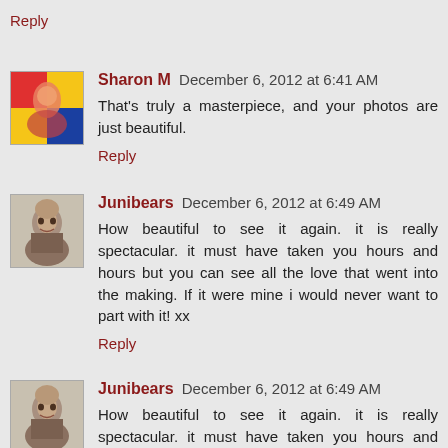Reply
Sharon M  December 6, 2012 at 6:41 AM
That's truly a masterpiece, and your photos are just beautiful.
Reply
Junibears  December 6, 2012 at 6:49 AM
How beautiful to see it again. it is really spectacular. it must have taken you hours and hours but you can see all the love that went into the making. If it were mine i would never want to part with it! xx
Reply
Junibears  December 6, 2012 at 6:49 AM
How beautiful to see it again. it is really spectacular. it must have taken you hours and hours but you can see all the